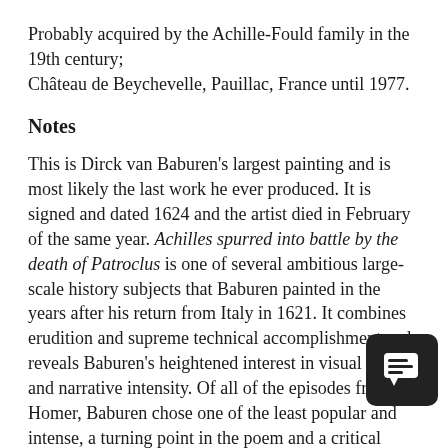Probably acquired by the Achille-Fould family in the 19th century; Château de Beychevelle, Pauillac, France until 1977.
Notes
This is Dirck van Baburen's largest painting and is most likely the last work he ever produced. It is signed and dated 1624 and the artist died in February of the same year. Achilles spurred into battle by the death of Patroclus is one of several ambitious large-scale history subjects that Baburen painted in the years after his return from Italy in 1621. It combines erudition and supreme technical accomplishment and reveals Baburen's heightened interest in visual drama and narrative intensity. Of all of the episodes from Home[r], Baburen chose one of the least popular and [most] intense, a turning point in the poem and a critical moment in Achilles' development. His depiction of